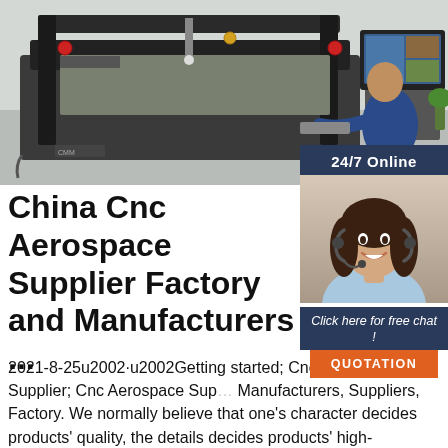[Figure (photo): CNC aerospace measurement/inspection machine in a factory setting, with a person in a blue jacket working at a computer monitor on the right side.]
[Figure (photo): 24/7 Online chat support widget showing a woman wearing a headset smiling, with 'Click here for free chat!' text and an orange QUOTATION button.]
China Cnc Aerospace Supplier Factory and Manufacturers ...
2021-8-25u2002·u2002Getting started; Cnc Aerospace Supplier; Cnc Aerospace Suppliers, Manufacturers, Suppliers, Factory. We normally believe that one's character decides products' quality, the details decides products' high-quality,while using the REALISTIC,EFFICIENT AND INNOVATIVE staff spirit for Cnc Aerospace Supplier, Cnc Machining